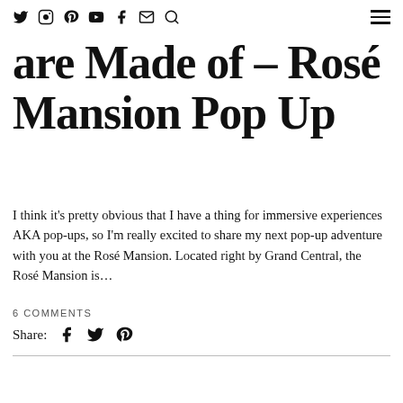[social icons: twitter, instagram, pinterest, youtube, facebook, mail, search] [menu icon]
are Made of – Rosé Mansion Pop Up
I think it's pretty obvious that I have a thing for immersive experiences AKA pop-ups, so I'm really excited to share my next pop-up adventure with you at the Rosé Mansion. Located right by Grand Central, the Rosé Mansion is…
6 COMMENTS
Share: [facebook] [twitter] [pinterest]